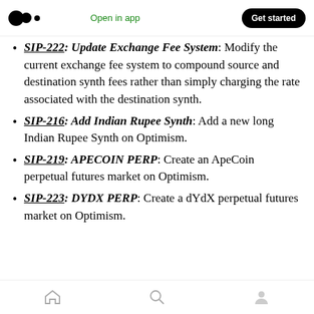Open in app  Get started
SIP-222: Update Exchange Fee System: Modify the current exchange fee system to compound source and destination synth fees rather than simply charging the rate associated with the destination synth.
SIP-216: Add Indian Rupee Synth: Add a new long Indian Rupee Synth on Optimism.
SIP-219: APECOIN PERP: Create an ApeCoin perpetual futures market on Optimism.
SIP-223: DYDX PERP: Create a dYdX perpetual futures market on Optimism.
Home  Search  Profile